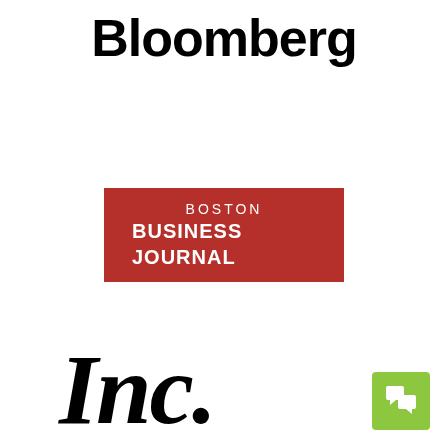[Figure (logo): Bloomberg logo in bold black sans-serif text]
[Figure (logo): Boston Business Journal logo: white text on red background rectangle]
[Figure (logo): Inc. magazine logo in large bold italic serif font]
[Figure (other): Green chat/message widget button in bottom right corner]